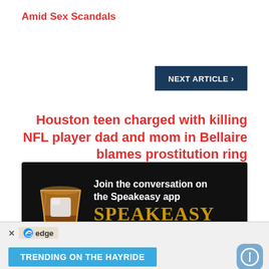Amid Sex Scandals
NEXT ARTICLE ›
Houston teen charged with killing NFL player dad and mom in Bellaire blames prostitution ring
[Figure (illustration): Speakeasy app advertisement banner with dark background, a whiskey glass with ice cube illustration, text 'Join the conversation on the Speakeasy app', large gold SPEAKEASY text, and a yellow DOWNLOAD NOW button]
[Figure (screenshot): Bottom bar showing Edge browser logo with X close button and a blue TRENDING ON THE HAYRIDE button with a circular icon on the right]